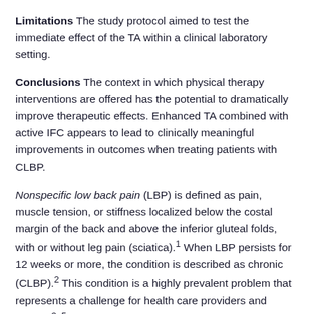Limitations The study protocol aimed to test the immediate effect of the TA within a clinical laboratory setting.
Conclusions The context in which physical therapy interventions are offered has the potential to dramatically improve therapeutic effects. Enhanced TA combined with active IFC appears to lead to clinically meaningful improvements in outcomes when treating patients with CLBP.
Nonspecific low back pain (LBP) is defined as pain, muscle tension, or stiffness localized below the costal margin of the back and above the inferior gluteal folds, with or without leg pain (sciatica).1 When LBP persists for 12 weeks or more, the condition is described as chronic (CLBP).2 This condition is a highly prevalent problem that represents a challenge for health care providers and society.3–5 Patients with CLBP are commonly treated by physical therapists, yet the mechanisms by which physical therapy interventions influence chronic pain are complex. Variables associated with the clinician,